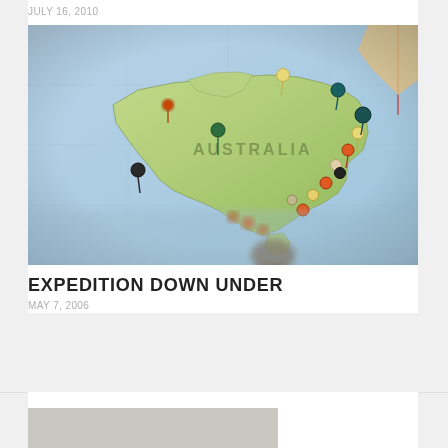JULY 16, 2010
[Figure (photo): Close-up photo of a map of Australia with colorful map pins stuck into various locations around the coastline and interior. The map label 'AUSTRALIA' is visible in the center. Multiple pins of different colors including green, orange, cream, black, and red are visible. The image has a shallow depth of field with the foreground and background blurred.]
EXPEDITION DOWN UNDER
MAY 7, 2006